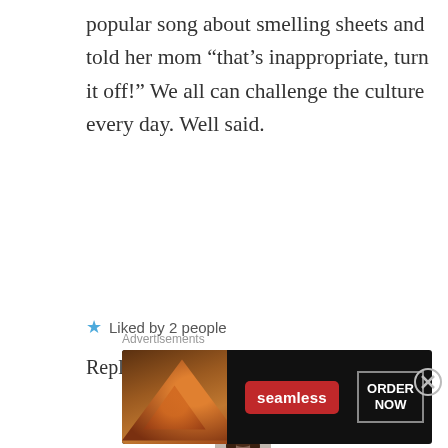popular song about smelling sheets and told her mom “that’s inappropriate, turn it off!” We all can challenge the culture every day. Well said.
★ Liked by 2 people
Reply
beautybeyondbones says: June 1, 2017 at 6:08 pm
Yes! We can change it! What a smart little girl:) thanks for
[Figure (illustration): Advertisement banner for Seamless food delivery showing pizza image, Seamless logo in red, and ORDER NOW button]
Advertisements